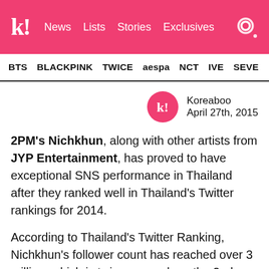k! News Lists Stories Exclusives
BTS BLACKPINK TWICE aespa NCT IVE SEVE
Koreaboo
April 27th, 2015
2PM's Nichkhun, along with other artists from JYP Entertainment, has proved to have exceptional SNS performance in Thailand after they ranked well in Thailand's Twitter rankings for 2014.
According to Thailand's Twitter Ranking, Nichkhun's follower count has reached over 3 million, which is twice as much as the 2nd runner up in the chart.